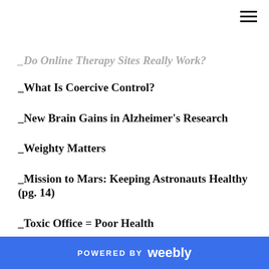_Do Online Therapy Sites Really Work?
_What Is Coercive Control?
_New Brain Gains in Alzheimer's Research
_Weighty Matters
_Mission to Mars: Keeping Astronauts Healthy (pg. 14)
_Toxic Office = Poor Health
_New Research Shows Fitter Kids Make Smarter Students
_Health Heroes
POWERED BY weebly